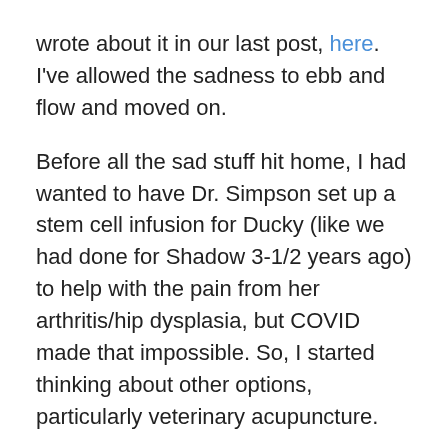wrote about it in our last post, here. I've allowed the sadness to ebb and flow and moved on.
Before all the sad stuff hit home, I had wanted to have Dr. Simpson set up a stem cell infusion for Ducky (like we had done for Shadow 3-1/2 years ago) to help with the pain from her arthritis/hip dysplasia, but COVID made that impossible. So, I started thinking about other options, particularly veterinary acupuncture.
Dr. Simpson came to the rescue again with the name of a vet nearby who practices TCVM (traditional Chinese veterinary medicine). One of the techs at the animal hospital where he now works had worked with the TCVM vet previously and recommended Dr. Barr highly. So, I made an appointment with her; and Dr. Simpson filled in as our regular vet until I could establish a relationship with